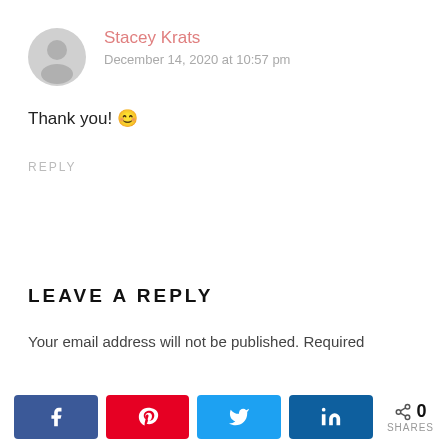[Figure (illustration): Grey circular user avatar icon]
Stacey Krats
December 14, 2020 at 10:57 pm
Thank you! 😊
REPLY
LEAVE A REPLY
Your email address will not be published. Required
[Figure (infographic): Social share bar with Facebook, Pinterest, Twitter, LinkedIn buttons and a share count showing 0 SHARES]